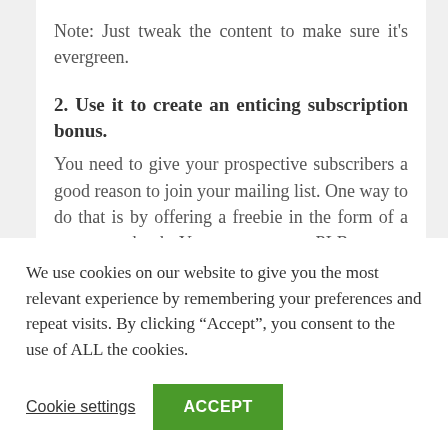Note: Just tweak the content to make sure it's evergreen.
2. Use it to create an enticing subscription bonus.
You need to give your prospective subscribers a good reason to join your mailing list. One way to do that is by offering a freebie in the form of a report or ebook. You can use your PLR content to quickly and easily create this free bonus!
3. Offer it as a bonus to paid products
We use cookies on our website to give you the most relevant experience by remembering your preferences and repeat visits. By clicking “Accept”, you consent to the use of ALL the cookies.